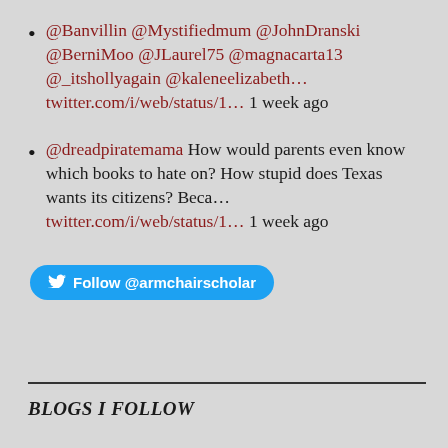@Banvillin @Mystifiedmum @JohnDranski @BerniMoo @JLaurel75 @magnacarta13 @_itshollyagain @kaleneelizabeth… twitter.com/i/web/status/1… 1 week ago
@dreadpiratemama How would parents even know which books to hate on? How stupid does Texas wants its citizens? Beca… twitter.com/i/web/status/1… 1 week ago
Follow @armchairscholar
BLOGS I FOLLOW